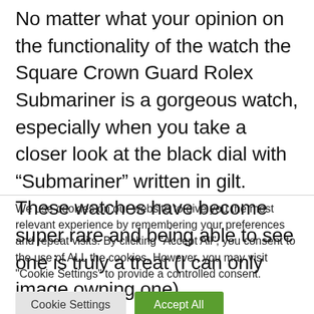No matter what your opinion on the functionality of the watch the Square Crown Guard Rolex Submariner is a gorgeous watch, especially when you take a closer look at the black dial with “Submariner” written in gilt. These watches have become super rare and being able to see one is truly a treat (I can only image owning one).
We use cookies on our website to give you the most relevant experience by remembering your preferences and repeat visits. By clicking “Accept All”, you consent to the use of ALL the cookies. However, you may visit "Cookie Settings" to provide a controlled consent.